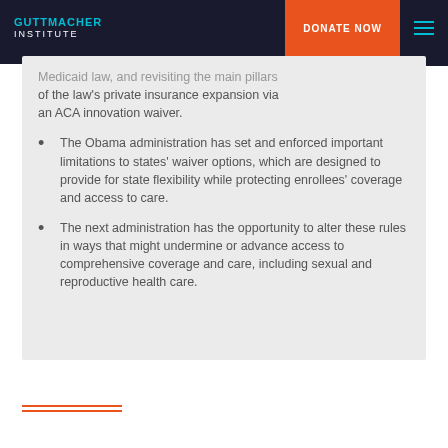GUTTMACHER INSTITUTE — DONATE NOW
Medicaid law, and revisiting the main pillars of the law's private insurance expansion via an ACA innovation waiver.
The Obama administration has set and enforced important limitations to states' waiver options, which are designed to provide for state flexibility while protecting enrollees' coverage and access to care.
The next administration has the opportunity to alter these rules in ways that might undermine or advance access to comprehensive coverage and care, including sexual and reproductive health care.